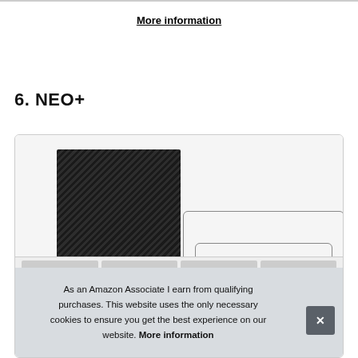More information
6. NEO+
[Figure (photo): Product photo of NEO+ device showing a black carbon-fiber textured box/enclosure with outline diagrams of additional views, partially obscured by a cookie consent banner.]
As an Amazon Associate I earn from qualifying purchases. This website uses the only necessary cookies to ensure you get the best experience on our website. More information